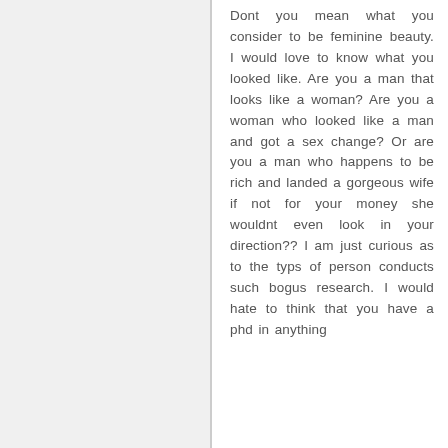Dont you mean what you consider to be feminine beauty. I would love to know what you looked like. Are you a man that looks like a woman? Are you a woman who looked like a man and got a sex change? Or are you a man who happens to be rich and landed a gorgeous wife if not for your money she wouldnt even look in your direction?? I am just curious as to the typs of person conducts such bogus research. I would hate to think that you have a phd in anything